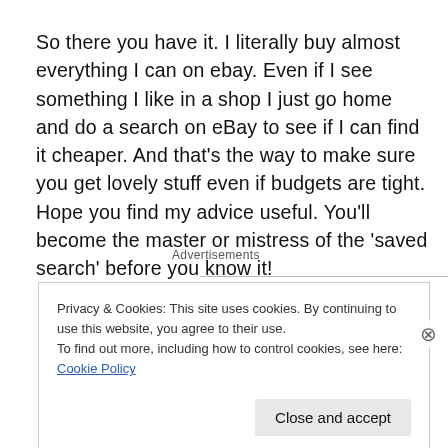So there you have it. I literally buy almost everything I can on ebay. Even if I see something I like in a shop I just go home and do a search on eBay to see if I can find it cheaper. And that's the way to make sure you get lovely stuff even if budgets are tight. Hope you find my advice useful. You'll become the master or mistress of the 'saved search' before you know it!
Advertisements
Privacy & Cookies: This site uses cookies. By continuing to use this website, you agree to their use.
To find out more, including how to control cookies, see here: Cookie Policy
Close and accept